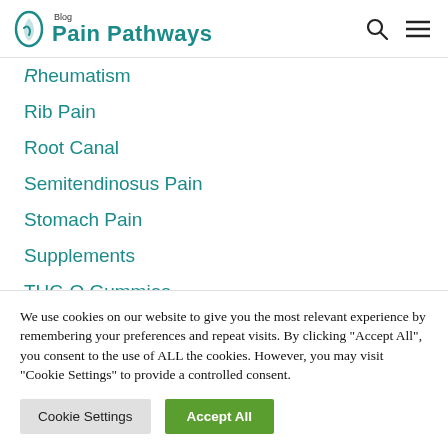Pain Pathways Blog
Rheumatism
Rib Pain
Root Canal
Semitendinosus Pain
Stomach Pain
Supplements
THC-O Gummies
We use cookies on our website to give you the most relevant experience by remembering your preferences and repeat visits. By clicking "Accept All", you consent to the use of ALL the cookies. However, you may visit "Cookie Settings" to provide a controlled consent.